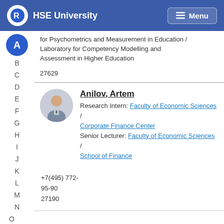HSE University | Menu
for Psychometrics and Measurement in Education / Laboratory for Competency Modelling and Assessment in Higher Education
27629
Anilov, Artem
Research Intern: Faculty of Economic Sciences / Corporate Finance Center
Senior Lecturer: Faculty of Economic Sciences / School of Finance
+7(495) 772-95-90
27190